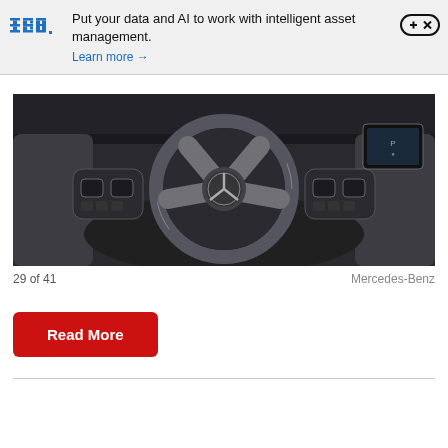[Figure (infographic): IBM advertisement banner with IBM logo, text 'Put your data and AI to work with intelligent asset management. Learn more →', and a close button (+ ×) icon.]
[Figure (photo): Close-up photograph of a Mercedes-Benz steering wheel interior, showing the dashboard controls and the Mercedes-Benz star logo in the center of the steering wheel.]
29 of 41    Mercedes-Benz
Read More